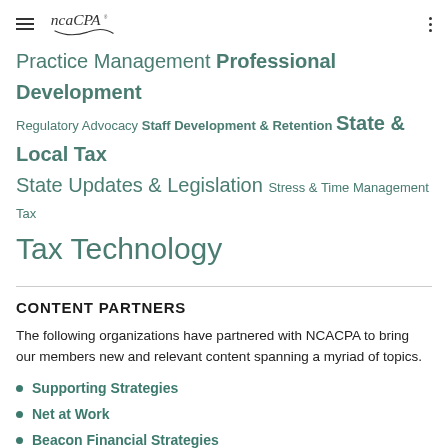ncaCPA
Practice Management Professional Development Regulatory Advocacy Staff Development & Retention State & Local Tax State Updates & Legislation Stress & Time Management Tax Tax Technology
CONTENT PARTNERS
The following organizations have partnered with NCACPA to bring our members new and relevant content spanning a myriad of topics.
Supporting Strategies
Net at Work
Beacon Financial Strategies
Clifton Larson Allen (CLA)